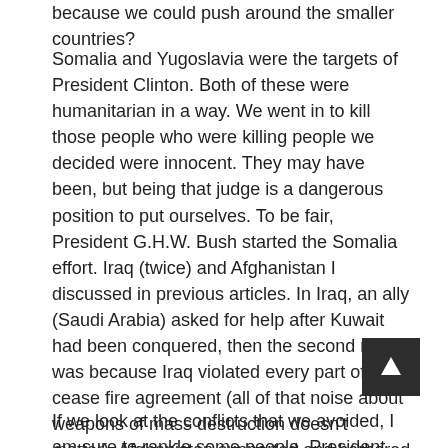because we could push around the smaller countries?
Somalia and Yugoslavia were the targets of President Clinton. Both of these were humanitarian in a way. We went in to kill those people who were killing people we decided were innocent. They may have been, but being that judge is a dangerous position to put ourselves. To be fair, President G.H.W. Bush started the Somalia effort. Iraq (twice) and Afghanistan I discussed in previous articles. In Iraq, an ally (Saudi Arabia) asked for help after Kuwait had been conquered, then the second round was because Iraq violated every part of the cease fire agreement (all of that noise about weapons of mass destruction doesn't matter). Afghanistan supported and harbored a group that publicly claimed responsibility for attacking us. And now we are bombing Libya. Again I ask why?
If we look at the conflicts that we avoided, I am sure to rankle some people. President Carter avoided